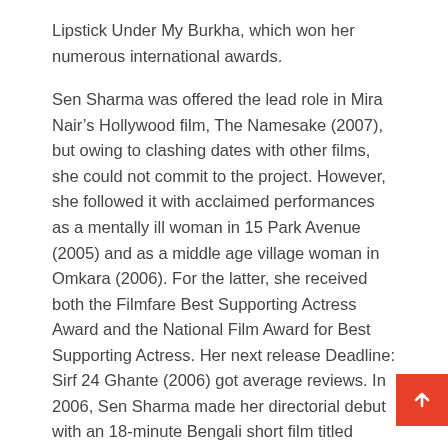Lipstick Under My Burkha, which won her numerous international awards.
Sen Sharma was offered the lead role in Mira Nair’s Hollywood film, The Namesake (2007), but owing to clashing dates with other films, she could not commit to the project. However, she followed it with acclaimed performances as a mentally ill woman in 15 Park Avenue (2005) and as a middle age village woman in Omkara (2006). For the latter, she received both the Filmfare Best Supporting Actress Award and the National Film Award for Best Supporting Actress. Her next release Deadline: Sirf 24 Ghante (2006) got average reviews. In 2006, Sen Sharma made her directorial debut with an 18-minute Bengali short film titled Naamkoron (Naming Ceremony) for the Kala Ghoda Film Festival.